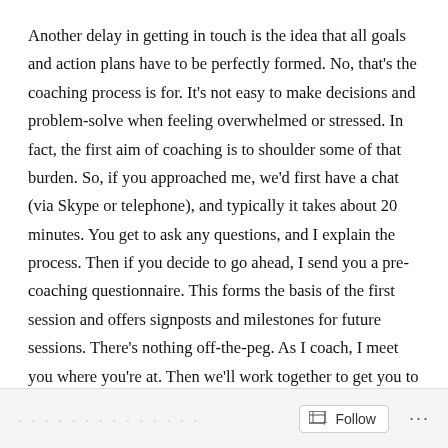Another delay in getting in touch is the idea that all goals and action plans have to be perfectly formed. No, that's the coaching process is for. It's not easy to make decisions and problem-solve when feeling overwhelmed or stressed. In fact, the first aim of coaching is to shoulder some of that burden. So, if you approached me, we'd first have a chat (via Skype or telephone), and typically it takes about 20 minutes. You get to ask any questions, and I explain the process. Then if you decide to go ahead, I send you a pre-coaching questionnaire. This forms the basis of the first session and offers signposts and milestones for future sessions. There's nothing off-the-peg. As I coach, I meet you where you're at. Then we'll work together to get you to where you want to be.
Follow ···